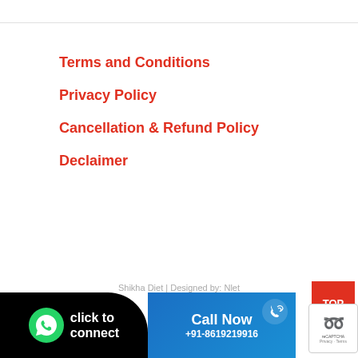Terms and Conditions
Privacy Policy
Cancellation & Refund Policy
Declaimer
Shikha Diet | Designed by: Nlet
[Figure (infographic): WhatsApp click to connect button (black rounded) and Call Now +91-8619219916 button (blue), plus TOP red button and reCAPTCHA badge]
[Figure (other): TOP red square button]